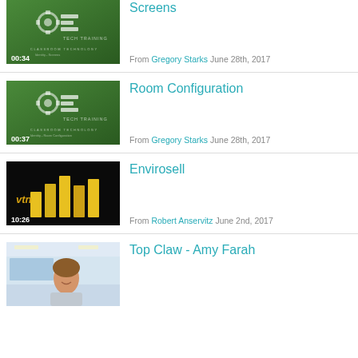[Figure (screenshot): Video thumbnail: green tech training background with gears logo, duration 00:34]
Screens
From Gregory Starks June 28th, 2017
[Figure (screenshot): Video thumbnail: green tech training background with gears logo, duration 00:37]
Room Configuration
From Gregory Starks June 28th, 2017
[Figure (screenshot): Video thumbnail: dark background with yellow 3D bar chart, text 'vtn', duration 10:26]
Envirosell
From Robert Anservitz June 2nd, 2017
[Figure (screenshot): Video thumbnail: classroom photo with smiling woman]
Top Claw - Amy Farah